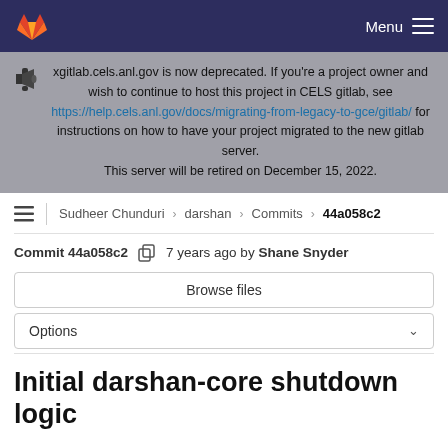GitLab navigation bar with Menu
xgitlab.cels.anl.gov is now deprecated. If you're a project owner and wish to continue to host this project in CELS gitlab, see https://help.cels.anl.gov/docs/migrating-from-legacy-to-gce/gitlab/ for instructions on how to have your project migrated to the new gitlab server. This server will be retired on December 15, 2022.
Sudheer Chunduri > darshan > Commits > 44a058c2
Commit 44a058c2 7 years ago by Shane Snyder
Browse files
Options
Initial darshan-core shutdown logic